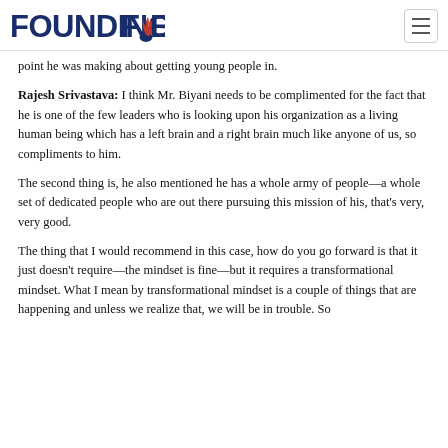FOUNDING FUEL
point he was making about getting young people in.
Rajesh Srivastava: I think Mr. Biyani needs to be complimented for the fact that he is one of the few leaders who is looking upon his organization as a living human being which has a left brain and a right brain much like anyone of us, so compliments to him.
The second thing is, he also mentioned he has a whole army of people—a whole set of dedicated people who are out there pursuing this mission of his, that's very, very good.
The thing that I would recommend in this case, how do you go forward is that it just doesn't require—the mindset is fine—but it requires a transformational mindset. What I mean by transformational mindset is a couple of things that are happening and unless we realize that, we will be in trouble. So